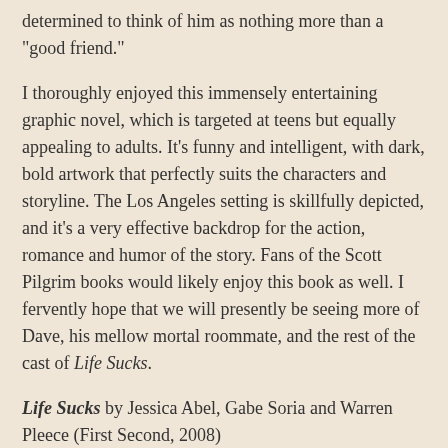determined to think of him as nothing more than a "good friend."
I thoroughly enjoyed this immensely entertaining graphic novel, which is targeted at teens but equally appealing to adults. It's funny and intelligent, with dark, bold artwork that perfectly suits the characters and storyline. The Los Angeles setting is skillfully depicted, and it's a very effective backdrop for the action, romance and humor of the story. Fans of the Scott Pilgrim books would likely enjoy this book as well. I fervently hope that we will presently be seeing more of Dave, his mellow mortal roommate, and the rest of the cast of Life Sucks.
Life Sucks by Jessica Abel, Gabe Soria and Warren Pleece (First Second, 2008)
Also reviewed at:
The Book Zombie: "The creativity used in putting together such a potluck of uniquely bizarre characters just reminds me so much of a Kevin Smith movie. Artwork, dialogue and plot were all fantastic as well, but it was the people that really